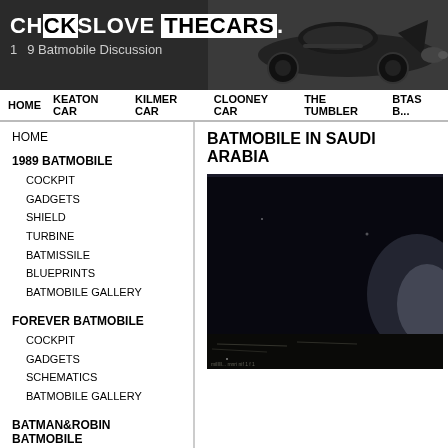CHCKSLOVE THECARS. 1989 Batmobile Discussion
HOME | KEATON CAR | KILMER CAR | CLOONEY CAR | THE TUMBLER | BTAS B...
HOME
1989 BATMOBILE
COCKPIT
GADGETS
SHIELD
TURBINE
BATMISSILE
BLUEPRINTS
BATMOBILE GALLERY
FOREVER BATMOBILE
COCKPIT
GADGETS
SCHEMATICS
BATMOBILE GALLERY
BATMAN&ROBIN BATMOBILE
COCKPIT
TURBINE
SCHEMATICS
BATMOBILE GALLERY
BATMOBILE IN SAUDI ARABIA
[Figure (photo): Dark close-up photo of a Batmobile in Saudi Arabia, mostly black with smoke or dust visible at bottom right]